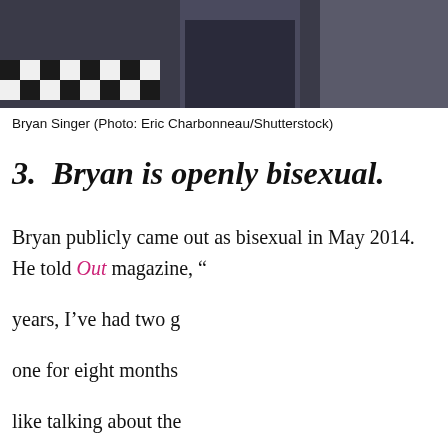[Figure (photo): Photo of Bryan Singer, dark background with checkered floor visible at bottom left]
Bryan Singer (Photo: Eric Charbonneau/Shutterstock)
3.  Bryan is openly bisexual.
Bryan publicly came out as bisexual in May 2014. He told Out magazine, “years, I’ve had two g one for eight months like talking about the the Kinsey Report, h And the reason I’ve never talked about it to the press